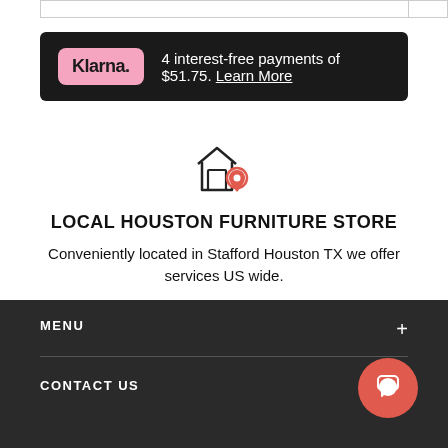[Figure (screenshot): Top border with two outlined boxes]
[Figure (infographic): Klarna payment banner on dark background showing logo and 4 interest-free payments of $51.75 with Learn More link]
[Figure (illustration): Store location icon - outline of a shop/house with a red location pin]
LOCAL HOUSTON FURNITURE STORE
Conveniently located in Stafford Houston TX we offer services US wide.
[Figure (other): Carousel navigation dots, 4 dots with first filled dark and rest gray]
MENU +
CONTACT US +